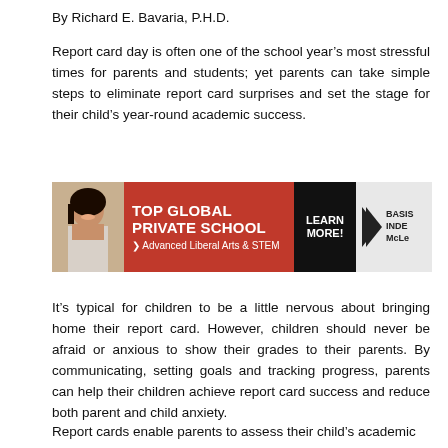By Richard E. Bavaria, P.H.D.
Report card day is often one of the school year’s most stressful times for parents and students; yet parents can take simple steps to eliminate report card surprises and set the stage for their child’s year-round academic success.
[Figure (infographic): Advertisement banner for TOP GLOBAL PRIVATE SCHOOL with text 'Advanced Liberal Arts & STEM', a LEARN MORE button, and BASIS INDE McLe branding with chevron arrows.]
It’s typical for children to be a little nervous about bringing home their report card. However, children should never be afraid or anxious to show their grades to their parents. By communicating, setting goals and tracking progress, parents can help their children achieve report card success and reduce both parent and child anxiety.
Report cards enable parents to assess their child’s academic